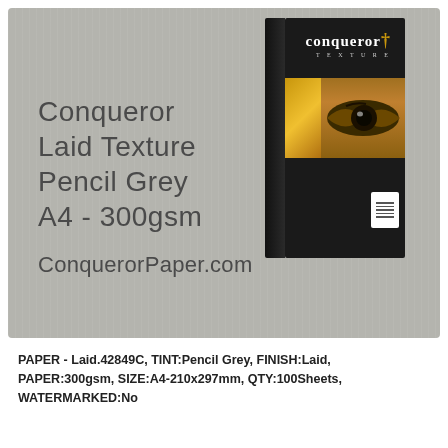[Figure (photo): Product image of Conqueror Laid Texture Pencil Grey A4 300gsm paper box on a grey textured background, with product name and website ConquerorPaper.com overlaid in large grey text]
PAPER - Laid.42849C, TINT:Pencil Grey, FINISH:Laid, PAPER:300gsm, SIZE:A4-210x297mm, QTY:100Sheets, WATERMARKED:No